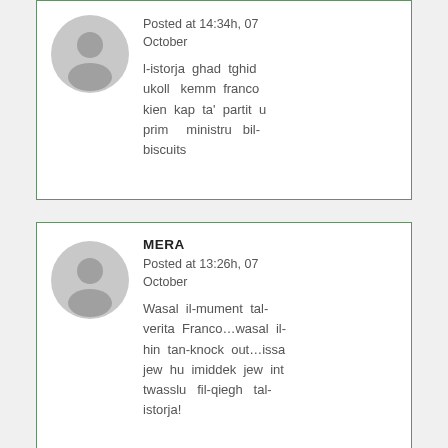Posted at 14:34h, 07 October
l-istorja ghad tghid ukoll kemm franco kien kap ta' partit u prim ministru bil-biscuits
MERA
Posted at 13:26h, 07 October
Wasal il-mument tal-verita Franco...wasal il-hin tan-knock out...issa jew hu imiddek jew int twasslu fil-qiegh tal-istorja!